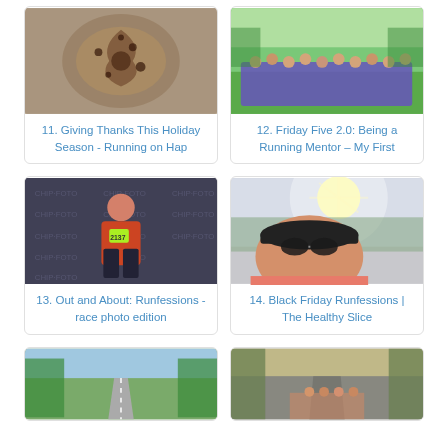[Figure (photo): Overhead view of a skillet cookie or brownie with chocolate swirl pattern]
11. Giving Thanks This Holiday Season - Running on Hap
[Figure (photo): Large group of people in purple shirts posing outdoors for a team photo]
12. Friday Five 2.0: Being a Running Mentor – My First
[Figure (photo): Woman in red shirt with race number bib posing at race photo backdrop with watermark]
13. Out and About: Runfessions - race photo edition
[Figure (photo): Close up selfie of person wearing sunglasses outdoors with bright sunlight]
14. Black Friday Runfessions | The Healthy Slice
[Figure (photo): Empty road through green wooded area in spring]
[Figure (photo): Marathon runners on a tree-lined road in autumn]